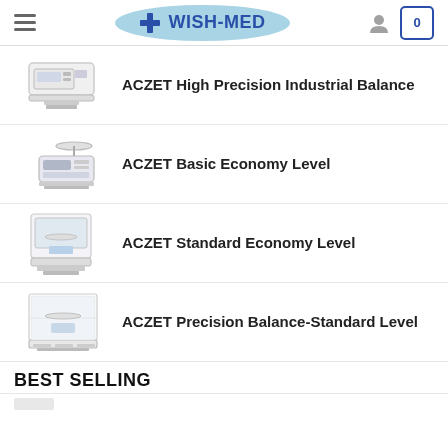WISH-MED
ACZET High Precision Industrial Balance
ACZET Basic Economy Level
ACZET Standard Economy Level
ACZET Precision Balance-Standard Level
BEST SELLING